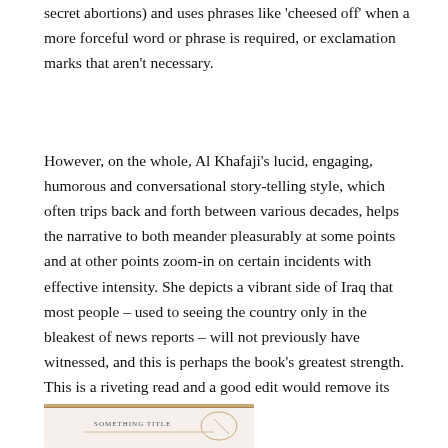secret abortions) and uses phrases like 'cheesed off' when a more forceful word or phrase is required, or exclamation marks that aren't necessary.
However, on the whole, Al Khafaji's lucid, engaging, humorous and conversational story-telling style, which often trips back and forth between various decades, helps the narrative to both meander pleasurably at some points and at other points zoom-in on certain incidents with effective intensity. She depicts a vibrant side of Iraq that most people – used to seeing the country only in the bleakest of news reports – will not previously have witnessed, and this is perhaps the book's greatest strength. This is a riveting read and a good edit would remove its flaws and allow it to dazzle.
[Figure (other): Partial view of a book cover or image at the bottom of the page, partially cut off.]